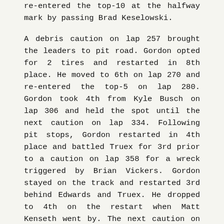re-entered the top-10 at the halfway mark by passing Brad Keselowski.
A debris caution on lap 257 brought the leaders to pit road. Gordon opted for 2 tires and restarted in 8th place. He moved to 6th on lap 270 and re-entered the top-5 on lap 280. Gordon took 4th from Kyle Busch on lap 306 and held the spot until the next caution on lap 334. Following pit stops, Gordon restarted in 4th place and battled Truex for 3rd prior to a caution on lap 358 for a wreck triggered by Brian Vickers. Gordon stayed on the track and restarted 3rd behind Edwards and Truex. He dropped to 4th on the restart when Matt Kenseth went by. The next caution on lap 374 allowed Gordon to start on the high line for the restart on lap 381. He took 2nd when Carl